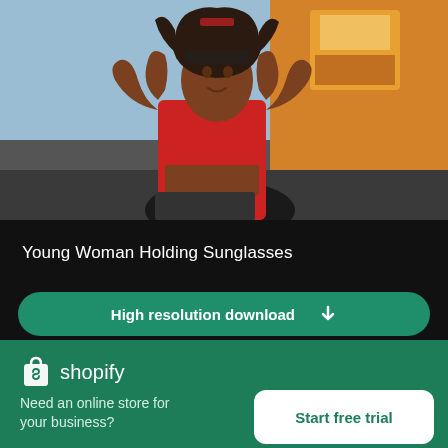[Figure (photo): Photo of a young woman in a red crop top holding sunglasses, partial upper body view, colorful background]
Young Woman Holding Sunglasses
[Figure (screenshot): High resolution download button — green rounded rectangle with download arrow icon]
[Figure (photo): Second blurred photo thumbnail below, with X close button on the right]
[Figure (logo): Shopify logo — shopping bag icon with 'shopify' wordmark in white]
Need an online store for your business?
[Figure (screenshot): Start free trial button — white rounded rectangle with green text]